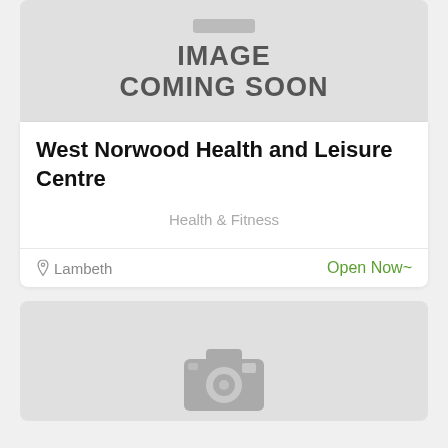[Figure (illustration): Image Coming Soon placeholder with grey background, icon bar at top, bold text IMAGE COMING SOON]
West Norwood Health and Leisure Centre
Health & Fitness
Lambeth    Open Now~
[Figure (illustration): Grey placeholder with camera icon, partially visible at bottom of page]